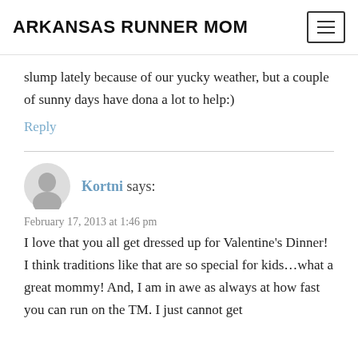ARKANSAS RUNNER MOM
slump lately because of our yucky weather, but a couple of sunny days have dona a lot to help:)
Reply
Kortni says:
February 17, 2013 at 1:46 pm
I love that you all get dressed up for Valentine's Dinner! I think traditions like that are so special for kids...what a great mommy! And, I am in awe as always at how fast you can run on the TM. I just cannot get